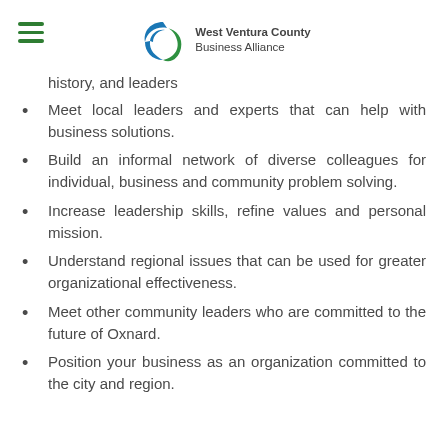West Ventura County Business Alliance
history, and leaders
Meet local leaders and experts that can help with business solutions.
Build an informal network of diverse colleagues for individual, business and community problem solving.
Increase leadership skills, refine values and personal mission.
Understand regional issues that can be used for greater organizational effectiveness.
Meet other community leaders who are committed to the future of Oxnard.
Position your business as an organization committed to the city and region.